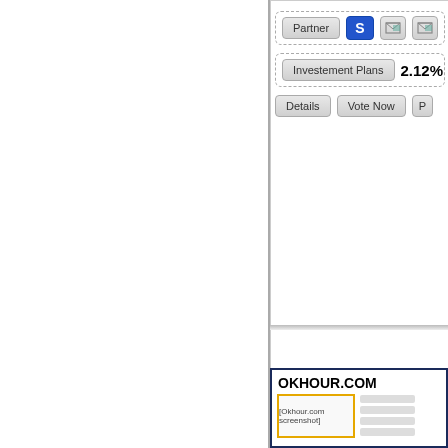[Figure (screenshot): Top portion of a web listing card showing Partner button, blue S icon, image icons, Investment Plans label with 2.12% rate, Details and Vote Now buttons — partially cropped on right side]
[Figure (screenshot): OKHOUR.COM listing card with dark navy border, showing site title, placeholder screenshot image with yellow border, sidebar items, and Partner/S-icon/image-icon row at bottom — partially cropped on right side]